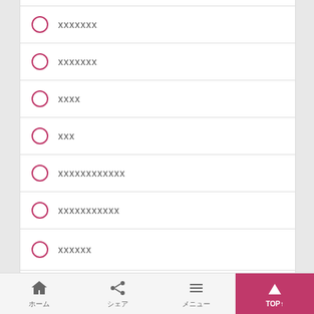xxxxxxx
xxxxxxx
xxxx
xxx
xxxxxxxxxxxx
xxxxxxxxxxx
xxxxxx
xxxxxx
ホーム　シェア　メニュー　TOP↑